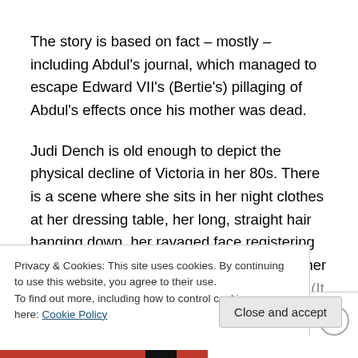The story is based on fact – mostly – including Abdul's journal, which managed to escape Edward VII's (Bertie's) pillaging of Abdul's effects once his mother was dead.
Judi Dench is old enough to depict the physical decline of Victoria in her 80s. There is a scene where she sits in her night clothes at her dressing table, her long, straight hair hanging down, her ravaged face registering her disappointment that Abdul has misled her about the Muslim role in the Indian Mutiny. (It was the Muslim, not
Privacy & Cookies: This site uses cookies. By continuing to use this website, you agree to their use.
To find out more, including how to control cookies, see here: Cookie Policy
Close and accept